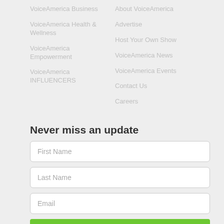VoiceAmerica Business
VoiceAmerica Health & Wellness
VoiceAmerica Empowerment
VoiceAmerica INFLUENCERS
About VoiceAmerica
Advertise
Host Your Own Show
VoiceAmerica News
VoiceAmerica Events
Contact Us
Careers
Never miss an update
First Name
Last Name
Email
Keep me in the loop!